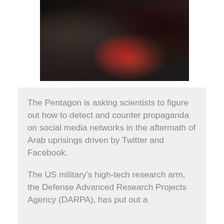[Figure (photo): Dark photograph of several people sitting around a table with laptops, appearing to be in a dimly lit setting. The image shows people working on computers with a reddish glow from one of the laptop screens.]
The Pentagon is asking scientists to figure out how to detect and counter propaganda on social media networks in the aftermath of Arab uprisings driven by Twitter and Facebook.
The US military's high-tech research arm, the Defense Advanced Research Projects Agency (DARPA), has put out a